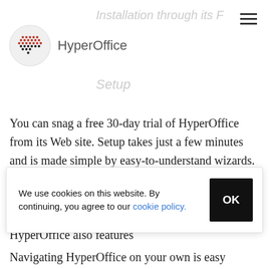HyperOffice
You can snag a free 30-day trial of HyperOffice from its Web site. Setup takes just a few minutes and is made simple by easy-to-understand wizards. Additionally, a HyperOffice representative will call you in short order to help you set up HyperOffice and navigate your way through its features. HyperOffice also features
We use cookies on this website. By continuing, you agree to our cookie policy.
Navigating HyperOffice on your own is easy